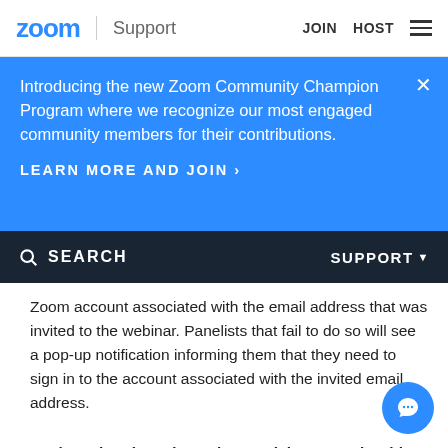zoom | Support   JOIN   HOST
Introducing the new Zoom Community Champion Program where we recognize our most engaged community members for their contributions.
LEARN MORE AND JOIN >
SEARCH   SUPPORT
Zoom account associated with the email address that was invited to the webinar. Panelists that fail to do so will see a pop-up notification informing them that they need to sign in to the account associated with the invited email address.
Only authenticated meeting participants and webinar attendees can join meetings and webinars: Meeting participants and webinar